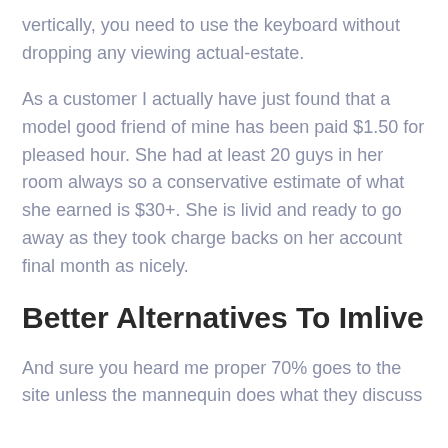vertically, you need to use the keyboard without dropping any viewing actual-estate.
As a customer I actually have just found that a model good friend of mine has been paid $1.50 for pleased hour. She had at least 20 guys in her room always so a conservative estimate of what she earned is $30+. She is livid and ready to go away as they took charge backs on her account final month as nicely.
Better Alternatives To Imlive
And sure you heard me proper 70% goes to the site unless the mannequin does what they discuss